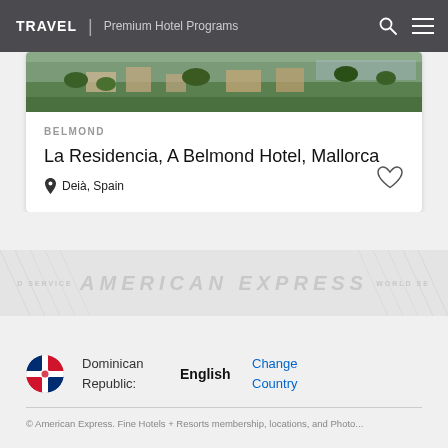TRAVEL | Premium Hotel Programs
[Figure (photo): Aerial/landscape view of La Residencia hotel in Mallorca, showing buildings surrounded by Mediterranean vegetation]
BELMOND
La Residencia, A Belmond Hotel, Mallorca
Deià, Spain
[Figure (infographic): American Express World Service watermark banner with decorative pattern]
Dominican Republic:
English
Change Country
© American Express. Fine Hotels + Resorts membership, locations, and Photo...